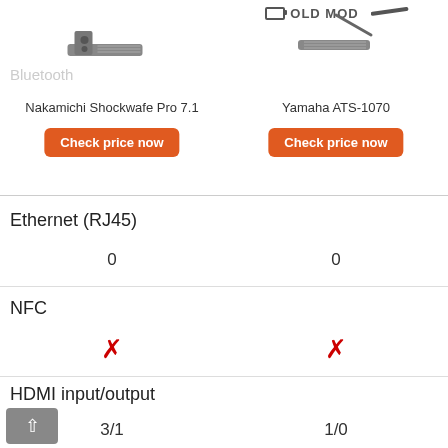[Figure (screenshot): Soundbar product image for Nakamichi Shockwafe Pro 7.1]
[Figure (screenshot): Soundbar product image for Yamaha ATS-1070 with OLD MODE badge]
Bluetooth
Nakamichi Shockwafe Pro 7.1
Check price now
Yamaha ATS-1070
Check price now
Ethernet (RJ45)
0
0
NFC
✗
✗
HDMI input/output
3/1
1/0
HDMI ARC
✓
✓